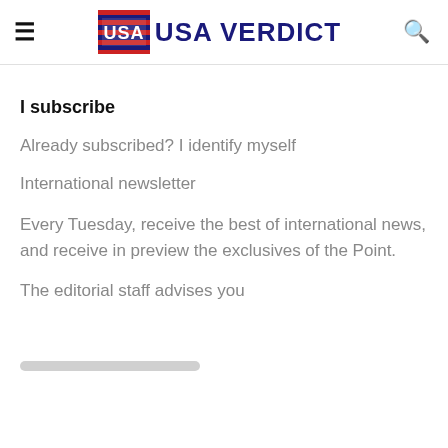USA VERDICT
I subscribe
Already subscribed? I identify myself
International newsletter
Every Tuesday, receive the best of international news, and receive in preview the exclusives of the Point.
The editorial staff advises you